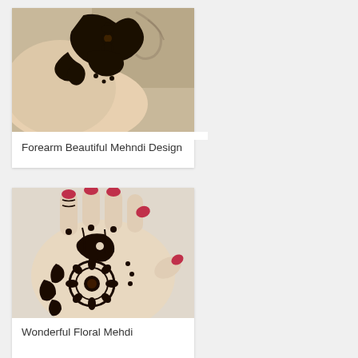[Figure (photo): Close-up photo of a forearm with intricate black henna/mehndi design featuring floral and leaf patterns on a carpet background]
Forearm Beautiful Mehndi Design
[Figure (photo): Photo of a hand with detailed floral and paisley henna/mehndi design on the back of the hand, fingernails painted red/pink]
Wonderful Floral Mehndi